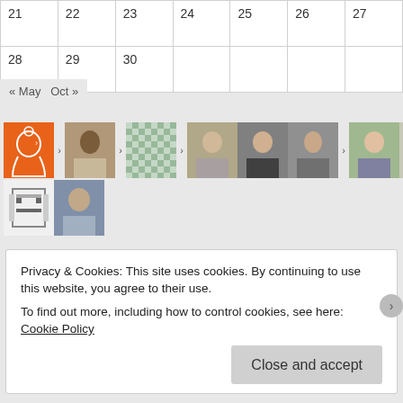| 21 | 22 | 23 | 24 | 25 | 26 | 27 |
| 28 | 29 | 30 |  |  |  |  |
« May   Oct »
[Figure (photo): Grid of user avatars/profile photos including an orange icon with a head silhouette, photos of various people, a checkerboard pattern, and pixel art icons]
Privacy & Cookies: This site uses cookies. By continuing to use this website, you agree to their use.
To find out more, including how to control cookies, see here: Cookie Policy
Close and accept